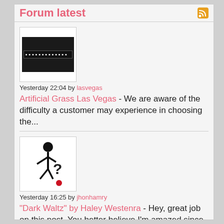Forum latest
Yesterday 22:04 by lasvegas
Artificial Grass Las Vegas - We are aware of the difficulty a customer may experience in choosing the...
Yesterday 16:25 by jhonhamry
"Dark Waltz" by Haley Westenra - Hey, great job on this post. You better believe I'm amazed since I've be...
[Figure (illustration): Third forum post avatar - silhouette figure with question mark]